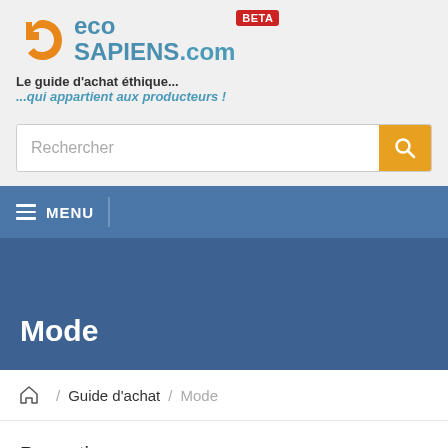[Figure (logo): EcoSapiens.com logo with orange swirl icon and BETA badge in red]
Le guide d'achat éthique...
...qui appartient aux producteurs !
Rechercher
MENU
Mode
/ Guide d'achat / Mode
Promotions